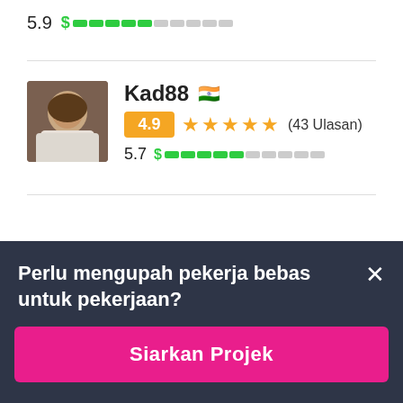5.9 $ ▓▓▓▓▓░░░░░
[Figure (screenshot): Freelancer profile card for Kad88 with Indian flag, 4.9 star rating badge, 5 orange stars, (43 Ulasan) reviews, score 5.7 and dollar bar indicator]
Perlu mengupah pekerja bebas untuk pekerjaan?
Siarkan Projek